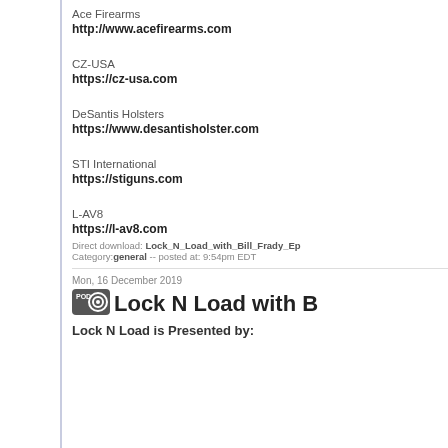Ace Firearms
http://www.acefirearms.com
CZ-USA
https://cz-usa.com
DeSantis Holsters
https://www.desantisholster.com
STI International
https://stiguns.com
L-AV8
https://l-av8.com
Direct download: Lock_N_Load_with_Bill_Frady_Ep
Category:general -- posted at: 9:54pm EDT
Mon, 16 December 2019
Lock N Load with B
Lock N Load is Presented by: